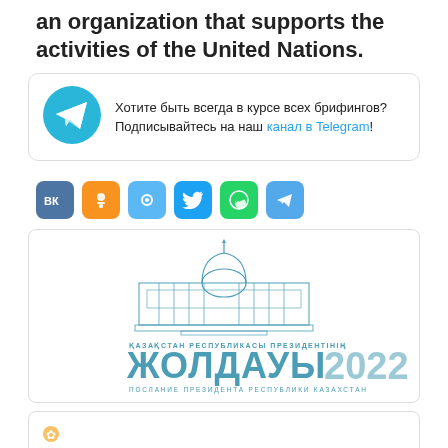an organization that supports the activities of the United Nations.
[Figure (infographic): Telegram subscription prompt box with Telegram logo icon and Russian text: Хотите быть всегда в курсе всех брифингов? Подписывайтесь на наш канал в Telegram!]
[Figure (infographic): Row of social media share buttons: VK (blue), OK (orange), MyMail (light blue), Twitter (blue), WhatsApp (green), Telegram (light blue)]
[Figure (logo): Official logo: Kazakhstan President's Address 2022 - ЖОЛДАУЫ 2022, showing Akorda palace building illustration and text in Kazakh and Russian: ҚАЗАҚСТАН РЕСПУБЛИКАСЫ ПРЕЗИДЕНТІНІҢ ЖОЛДАУЫ 2022 / ПОСЛАНИЕ ПРЕЗИДЕНТА РЕСПУБЛИКИ КАЗАХСТАН]
[Figure (logo): Partial view of another box at bottom of page with a small decorative icon visible]